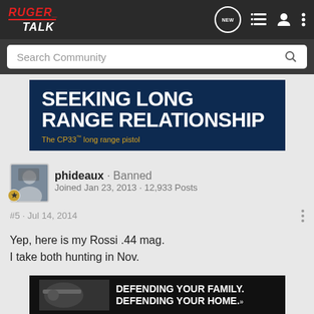RUGER TALK
Search Community
[Figure (screenshot): Advertisement banner for Ruger CP33 pistol with text SEEKING LONG RANGE RELATIONSHIP and The CP33™ long range pistol]
phideaux · Banned
Joined Jan 23, 2013 · 12,933 Posts
#5 · Jul 14, 2014
Yep, here is my Rossi .44 mag.
I take both hunting in Nov.
[Figure (screenshot): Advertisement with woman aiming rifle, text DEFENDING YOUR FAMILY. DEFENDING YOUR HOME.]